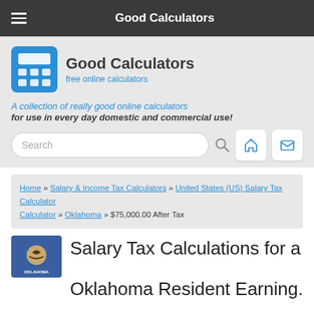Good Calculators
[Figure (logo): Good Calculators logo with blue calculator icon and text 'Good Calculators - free online calculators']
A collection of really good online calculators for use in every day domestic and commercial use!
Search
Home » Salary & Income Tax Calculators » United States (US) Salary Tax Calculator » Oklahoma » $75,000.00 After Tax
Salary Tax Calculations for a Oklahoma Resident Earning...